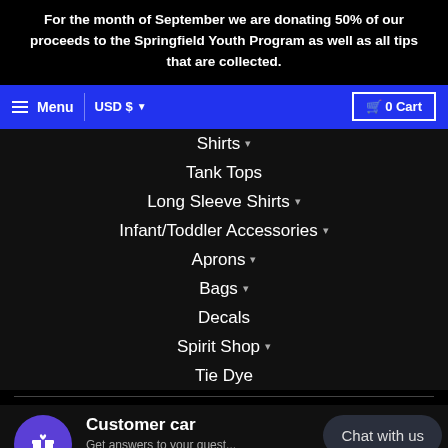For the month of September we are donating 50% of our proceeds to the Springfield Youth Program as well as all tips that are collected.
Menu  USD $  0 Cart
Shirts
Tank Tops
Long Sleeve Shirts
Infant/Toddler Accessories
Aprons
Bags
Decals
Spirit Shop
Tie Dye
Customer care  Get answers to your quest...
Chat with us
Search